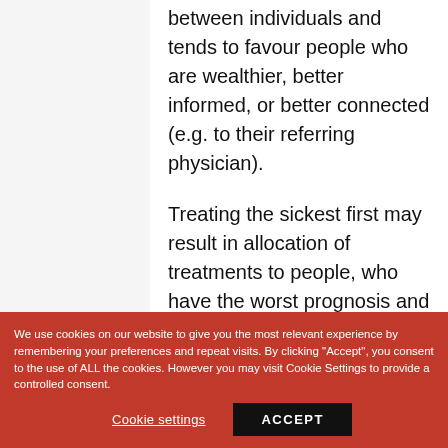between individuals and tends to favour people who are wealthier, better informed, or better connected (e.g. to their referring physician).
Treating the sickest first may result in allocation of treatments to people, who have the worst prognosis and therefore the least long-term benefit.
Treating the youngest first would divert all of the resource to infants and young children, when most people may agree
We use cookies on our website to give you the most relevant experience by remembering your preferences and repeat visits. By clicking "Accept", you consent to the use of ALL the cookies. However you may visit Cookie Settings to provide a controlled consent.